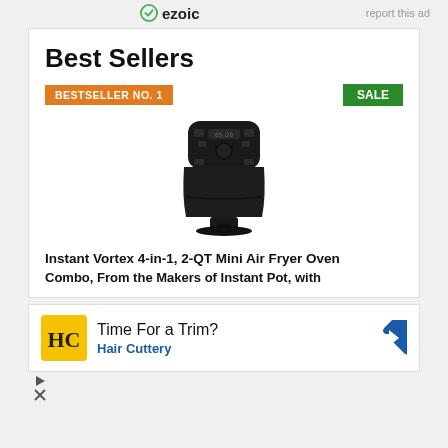ezoic   report this ad
Best Sellers
BESTSELLER NO. 1
SALE
[Figure (photo): Black Instant Vortex mini air fryer with digital display and dial controls on top, basket handle visible at bottom.]
Instant Vortex 4-in-1, 2-QT Mini Air Fryer Oven Combo, From the Makers of Instant Pot, with
[Figure (advertisement): Hair Cuttery advertisement with HC logo, text 'Time For a Trim?' and 'Hair Cuttery', and a blue diamond navigation arrow icon.]